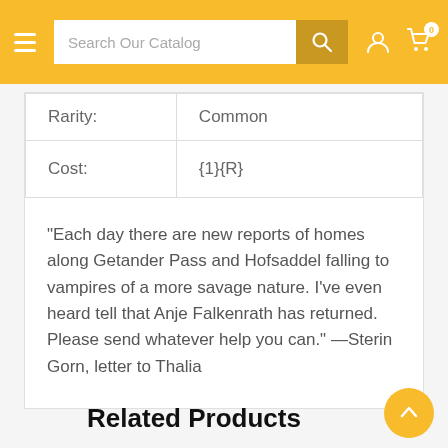Search Our Catalog
| Rarity: | Common |
| Cost: | {1}{R} |
"Each day there are new reports of homes along Getander Pass and Hofsaddel falling to vampires of a more savage nature. I've even heard tell that Anje Falkenrath has returned. Please send whatever help you can." —Sterin Gorn, letter to Thalia
Related Products